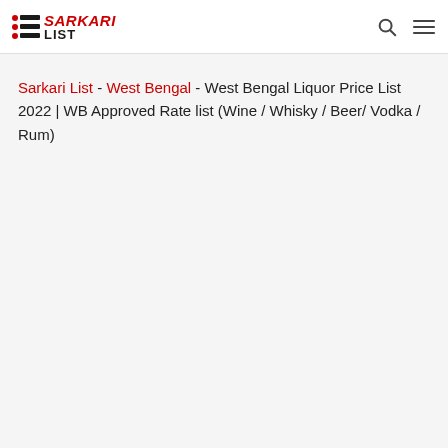Sarkari List [logo] [search icon] [menu icon]
Sarkari List - West Bengal - West Bengal Liquor Price List 2022 | WB Approved Rate list (Wine / Whisky / Beer/ Vodka / Rum)